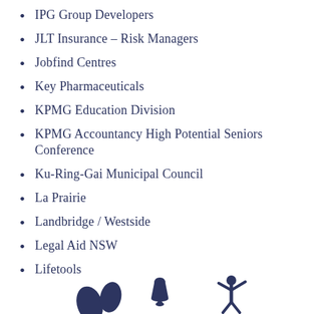IPG Group Developers
JLT Insurance – Risk Managers
Jobfind Centres
Key Pharmaceuticals
KPMG Education Division
KPMG Accountancy High Potential Seniors Conference
Ku-Ring-Gai Municipal Council
La Prairie
Landbridge / Westside
Legal Aid NSW
Lifetools
[Figure (illustration): Dark navy blue decorative icons at the bottom of the page: a pair of footprint/leaf shapes on the left, a bell/notification icon in the center, and a person with raised arms on the right]